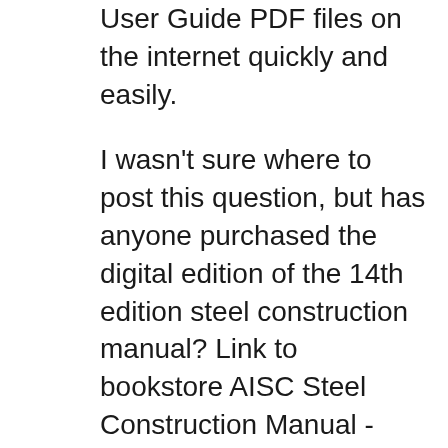User Guide PDF files on the internet quickly and easily.
I wasn't sure where to post this question, but has anyone purchased the digital edition of the 14th edition steel construction manual? Link to bookstore AISC Steel Construction Manual - 14th Edition - Digital Copy For those of you who have purchased it, does the document have chapter links and bookmarks embedded in the pdf? AISC STEEL CONSTRUCTION MANUAL 15TH EDITION PDF Are you looking for aisc steel construction manual 15th edition PDF?. If you are areader who likes to download aisc steel construction manual 15th edition Pdf to any kind of